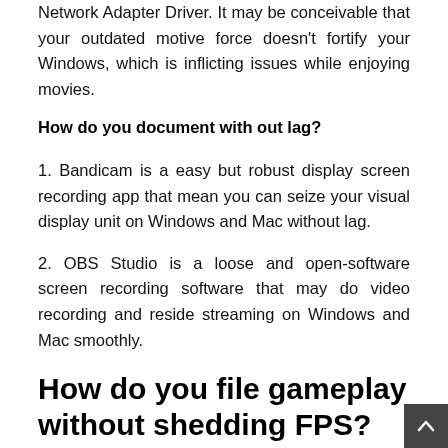Network Adapter Driver. It may be conceivable that your outdated motive force doesn't fortify your Windows, which is inflicting issues while enjoying movies.
How do you document with out lag?
1. Bandicam is a easy but robust display screen recording app that mean you can seize your visual display unit on Windows and Mac without lag.
2. OBS Studio is a loose and open-software screen recording software that may do video recording and reside streaming on Windows and Mac smoothly.
How do you file gameplay without shedding FPS?
There is handiest ONE technique to document gaming